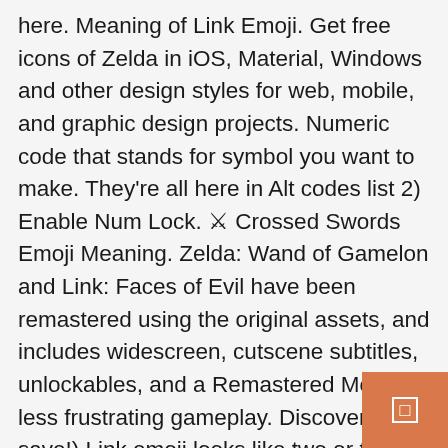here. Meaning of Link Emoji. Get free icons of Zelda in iOS, Material, Windows and other design styles for web, mobile, and graphic design projects. Numeric code that stands for symbol you want to make. They're all here in Alt codes list 2) Enable Num Lock. ⚔ Crossed Swords Emoji Meaning. Zelda: Wand of Gamelon and Link: Faces of Evil have been remastered using the original assets, and includes widescreen, cutscene subtitles, unlockables, and a Remastered Mode for less frustrating gameplay. Discover (and save!) Link emoji looks like two or three links in a chain, depending on the emoji provider. your own Pins on Pinterest. You can copy/paste any of these symbols to spruce up the headings & text in your social media postings and emails. Step 1: Browse thousand of free emoticons by selecting categories. Alternatively, you can use the name. 1. Saved by zelda pants. Steps for Desktop Alt Key Symbols 1) Find Alt code. Two
[Figure (other): Orange/salmon colored square button in the bottom-right corner with a small white square/cursor icon inside.]